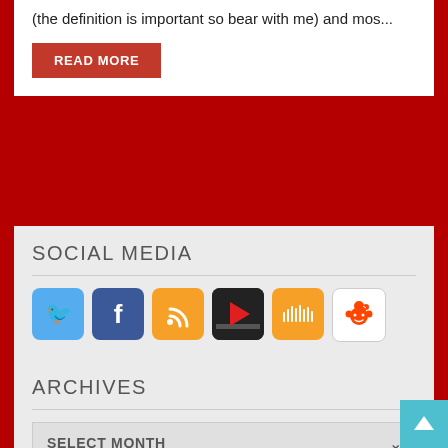(the definition is important so bear with me) and mos…
READ MORE
SOCIAL MEDIA
[Figure (infographic): Row of six social media icon buttons: Twitter (blue bird), Facebook (blue F), RSS (orange feed icon), YouTube-style play button (red/dark), SoundCloud (orange waveform), Reddit (white alien mascot)]
ARCHIVES
SELECT MONTH
TWEETS
Tweets from @thedanielswuan